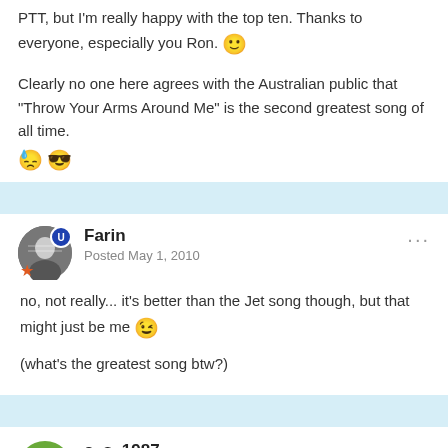I love it. I really didn't know how the voting would turn out for this PTT, but I'm really happy with the top ten. Thanks to everyone, especially you Ron. 🙂
Clearly no one here agrees with the Australian public that "Throw Your Arms Around Me" is the second greatest song of all time. 😓 😎
Farin
Posted May 1, 2010
no, not really... it's better than the Jet song though, but that might just be me 😉

(what's the greatest song btw?)
c_s_1987
Posted May 1, 2010